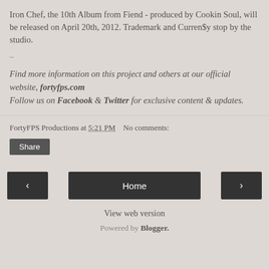Iron Chef, the 10th Album from Fiend - produced by Cookin Soul, will be released on April 20th, 2012. Trademark and Curren$y stop by the studio.
–
Find more information on this project and others at our official website, fortyfps.com
Follow us on Facebook & Twitter for exclusive content & updates.
FortyFPS Productions at 5:21 PM    No comments:
Share
‹   Home   ›
View web version
Powered by Blogger.